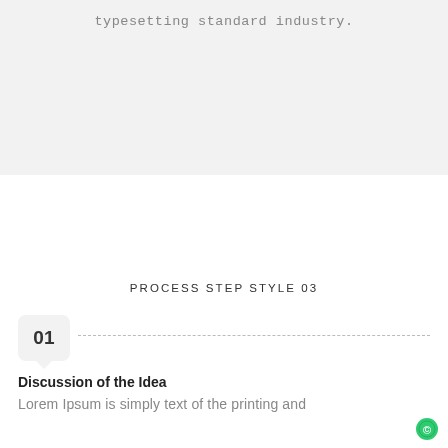typesetting standard industry.
PROCESS STEP STYLE 03
01
Discussion of the Idea
Lorem Ipsum is simply text of the printing and